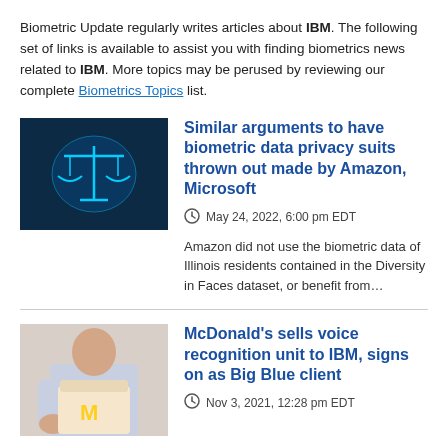Biometric Update regularly writes articles about IBM. The following set of links is available to assist you with finding biometrics news related to IBM. More topics may be perused by reviewing our complete Biometrics Topics list.
[Figure (illustration): Digital blue background with glowing scales of justice icon]
Similar arguments to have biometric data privacy suits thrown out made by Amazon, Microsoft
May 24, 2022, 6:00 pm EDT
Amazon did not use the biometric data of Illinois residents contained in the Diversity in Faces dataset, or benefit from...
[Figure (photo): Person holding a McDonald's takeout bag]
McDonald's sells voice recognition unit to IBM, signs on as Big Blue client
Nov 3, 2021, 12:28 pm EDT